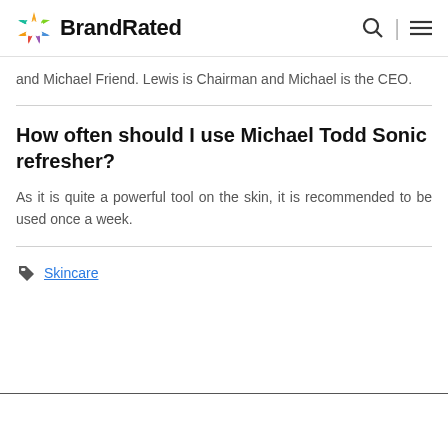BrandRated
and Michael Friend. Lewis is Chairman and Michael is the CEO.
How often should I use Michael Todd Sonic refresher?
As it is quite a powerful tool on the skin, it is recommended to be used once a week.
Skincare